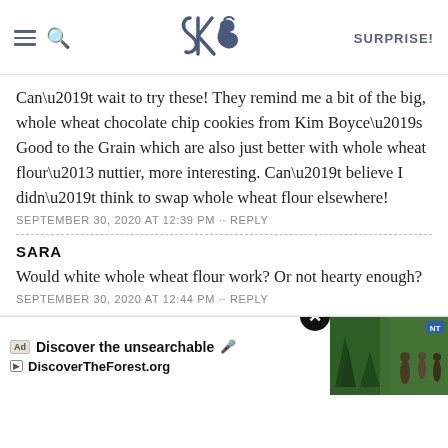SK — SURPRISE!
Can’t wait to try these! They remind me a bit of the big, whole wheat chocolate chip cookies from Kim Boyce’s Good to the Grain which are also just better with whole wheat flour– nuttier, more interesting. Can’t believe I didn’t think to swap whole wheat flour elsewhere!
SEPTEMBER 30, 2020 AT 12:39 PM ·· REPLY
SARA
Would white whole wheat flour work? Or not hearty enough?
SEPTEMBER 30, 2020 AT 12:44 PM ·· REPLY
DEB
It will be fine
S
[Figure (screenshot): Ad banner: 'Discover the unsearchable' with DiscoverTheForest.org, showing a group of people in a forest]